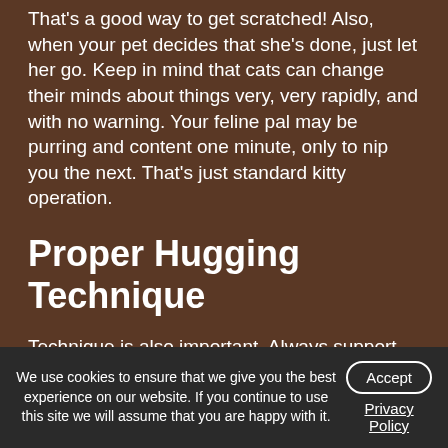That's a good way to get scratched! Also, when your pet decides that she's done, just let her go. Keep in mind that cats can change their minds about things very, very rapidly, and with no warning. Your feline pal may be purring and content one minute, only to nip you the next. That's just standard kitty operation.
Proper Hugging Technique
Technique is also important. Always support your fuzzy friend's weight properly. Her legs or rump should be supporting her weight. Never hold Fluffy by her stomach: this can cause internal injuries. Also, be very gentle when picking your pet up or putting her down. Feel free to practice!
Benefits of Hugging Fluffy
As it turns out, kitties are also doing it to enjoy...
We use cookies to ensure that we give you the best experience on our website. If you continue to use this site we will assume that you are happy with it.